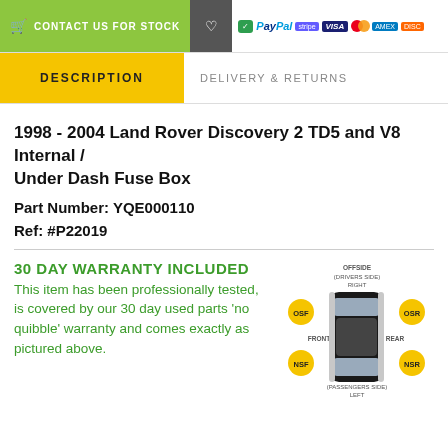CONTACT US FOR STOCK
DESCRIPTION | DELIVERY & RETURNS
1998 - 2004 Land Rover Discovery 2 TD5 and V8 Internal / Under Dash Fuse Box
Part Number: YQE000110
Ref: #P22019
30 DAY WARRANTY INCLUDED
This item has been professionally tested, is covered by our 30 day used parts 'no quibble' warranty and comes exactly as pictured above.
[Figure (illustration): Top-down diagram of a car showing OSF (Offside/Drivers Side/Right front), OSR (Offside Rear), NSF (Nearside/Passengers Side/Left front), NSR (Nearside Rear), with FRONT and REAR labels and OFFSIDE (DRIVERS SIDE) RIGHT and NEARSIDE (PASSENGERS SIDE) LEFT labels.]